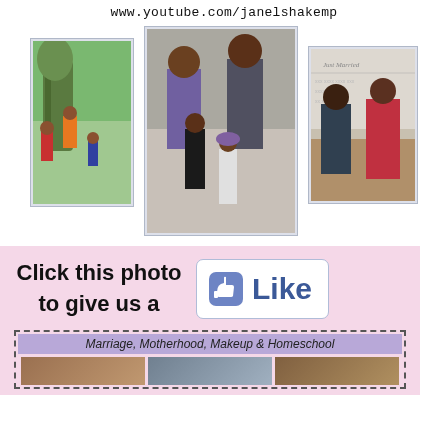www.youtube.com/janelshakemp
[Figure (photo): Three family photos side by side: left shows children playing outdoors near a tree, center shows a family portrait with parents and two young children dressed formally, right shows a couple at a formal event with a 'Just Married' backdrop.]
[Figure (infographic): Pink background section with text 'Click this photo to give us a' alongside a Facebook Like button icon and Like text. Below is a dashed border box labeled 'Marriage, Motherhood, Makeup & Homeschool' with small photos inside.]
Click this photo to give us a
Like
Marriage, Motherhood, Makeup & Homeschool